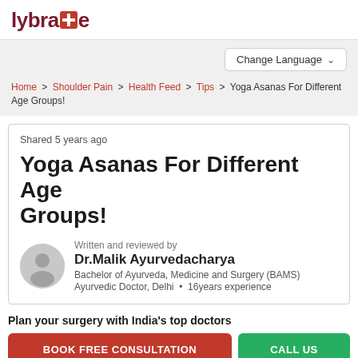[Figure (logo): Lybrate logo with red cross/plus symbol between 'lybra' and 'e' text in dark red]
Change Language
Home > Shoulder Pain > Health Feed > Tips > Yoga Asanas For Different Age Groups!
Shared 5 years ago
Yoga Asanas For Different Age Groups!
Written and reviewed by
Dr.Malik Ayurvedacharya
Bachelor of Ayurveda, Medicine and Surgery (BAMS)
Ayurvedic Doctor, Delhi  •  16years experience
Plan your surgery with India's top doctors
BOOK FREE CONSULTATION
CALL US